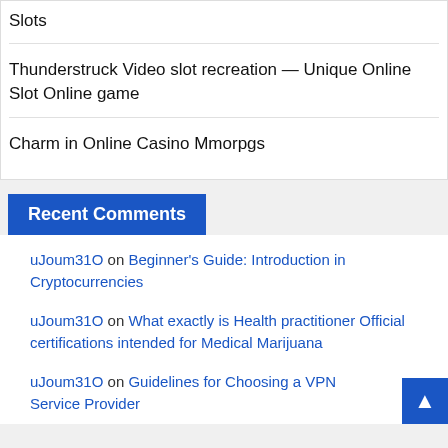Slots
Thunderstruck Video slot recreation — Unique Online Slot Online game
Charm in Online Casino Mmorpgs
Recent Comments
uJoum31O on Beginner's Guide: Introduction in Cryptocurrencies
uJoum31O on What exactly is Health practitioner Official certifications intended for Medical Marijuana
uJoum31O on Guidelines for Choosing a VPN Service Provider